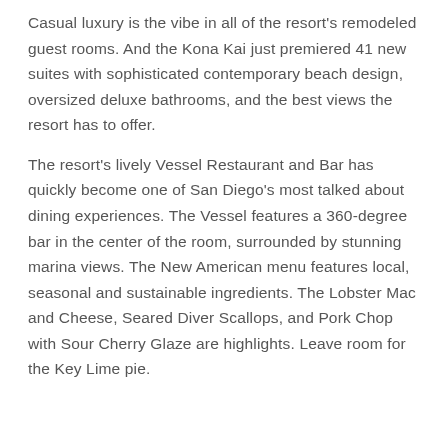Casual luxury is the vibe in all of the resort's remodeled guest rooms. And the Kona Kai just premiered 41 new suites with sophisticated contemporary beach design, oversized deluxe bathrooms, and the best views the resort has to offer.
The resort's lively Vessel Restaurant and Bar has quickly become one of San Diego's most talked about dining experiences. The Vessel features a 360-degree bar in the center of the room, surrounded by stunning marina views. The New American menu features local, seasonal and sustainable ingredients. The Lobster Mac and Cheese, Seared Diver Scallops, and Pork Chop with Sour Cherry Glaze are highlights. Leave room for the Key Lime pie.